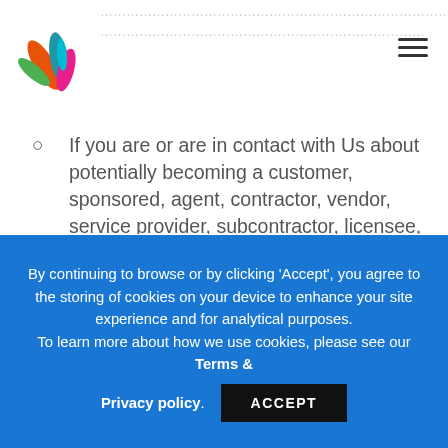[Figure (logo): Colorful feather/leaf logo with orange, blue, green, teal, and pink/red colors]
If you are or are in contact with Us about potentially becoming a customer, sponsored, agent, contractor, vendor, service provider, subcontractor, licensee, licensor or otherwise have or consider a business relationship with Us, We will need to collect your name, email address, telephone number and other personal data needed to carry out Our agreed business or to evaluate a potential business. In certain cases where there is a legitimate interest and collection is allowed under
By continuing to browse or by clicking 'Accept', you agree to the storing of cookies on your device to enhance your site experience and for analytical purposes. To learn more about how we use cookies, please see our Terms & Privacy policy.
ACCEPT